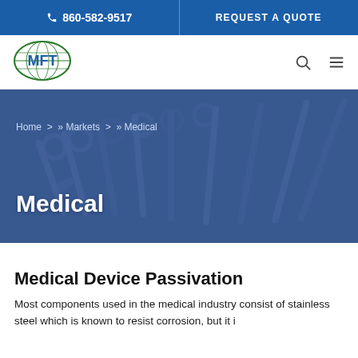📞 860-582-9517 | REQUEST A QUOTE
[Figure (logo): MFT company logo — blue letters MFT inside a green oval world map graphic]
[Figure (photo): Background photo of surgical stainless steel instruments (scissors, clamps) with a blue overlay, used as hero banner]
Home > » Markets > » Medical
Medical
Medical Device Passivation
Most components used in the medical industry consist of stainless steel which is known to resist corrosion, but it i...